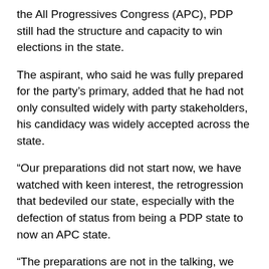the All Progressives Congress (APC), PDP still had the structure and capacity to win elections in the state.
The aspirant, who said he was fully prepared for the party's primary, added that he had not only consulted widely with party stakeholders, his candidacy was widely accepted across the state.
“Our preparations did not start now, we have watched with keen interest, the retrogression that bedeviled our state, especially with the defection of status from being a PDP state to now an APC state.
“The preparations are not in the talking, we are prepared to work that talk. We are ready to do whatever it takes. We have the resources and the intellectual capacity.